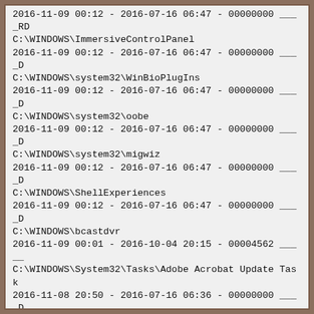2016-11-09 00:12 - 2016-07-16 06:47 - 00000000 ____RD C:\WINDOWS\ImmersiveControlPanel
2016-11-09 00:12 - 2016-07-16 06:47 - 00000000 ____D C:\WINDOWS\system32\WinBioPlugIns
2016-11-09 00:12 - 2016-07-16 06:47 - 00000000 ____D C:\WINDOWS\system32\oobe
2016-11-09 00:12 - 2016-07-16 06:47 - 00000000 ____D C:\WINDOWS\system32\migwiz
2016-11-09 00:12 - 2016-07-16 06:47 - 00000000 ____D C:\WINDOWS\ShellExperiences
2016-11-09 00:12 - 2016-07-16 06:47 - 00000000 ____D C:\WINDOWS\bcastdvr
2016-11-09 00:01 - 2016-10-04 20:15 - 00004562 _____ C:\WINDOWS\System32\Tasks\Adobe Acrobat Update Task
2016-11-08 20:50 - 2016-07-16 06:36 - 00000000 ____D C:\WINDOWS\CbsTemp
2016-11-08 20:42 - 2013-07-21 17:24 - 00000000 ____D C:\WINDOWS\system32\MRT
2016-11-08 20:37 - 2013-04-06 11:23 - 141011376 ____C (Microsoft Corporation) C:\WINDOWS\system32\MRT.exe
2016-11-08 17:46 - 2016-07-16 06:47 - 00000000 ____D C:\WINDOWS\SysWOW64\Macromed
2016-11-08 17:46 - 2016-07-16 06:47 - 00000000 ____D C:\WINDOWS\system32\Macromed